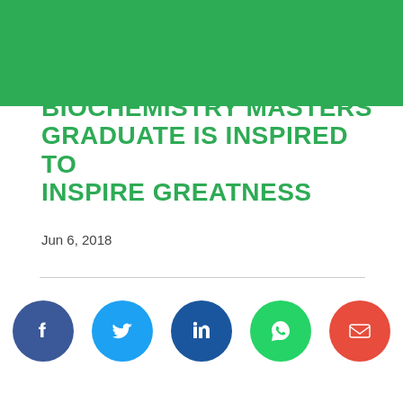[Figure (other): Green banner background at top of page]
BIOCHEMISTRY MASTERS GRADUATE IS INSPIRED TO INSPIRE GREATNESS
Jun 6, 2018
[Figure (infographic): Social share icons: Facebook (dark blue circle), Twitter (light blue circle), LinkedIn (dark blue circle), WhatsApp (green circle), Email (red circle)]